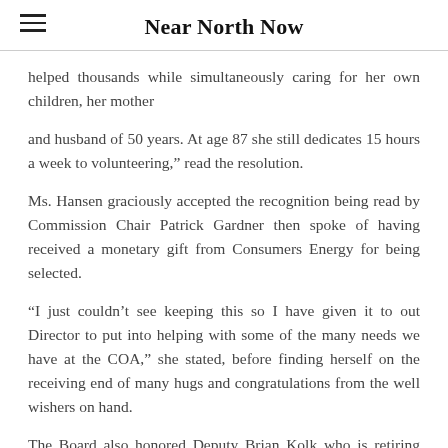Near North Now
helped thousands while simultaneously caring for her own children, her mother
and husband of 50 years. At age 87 she still dedicates 15 hours a week to volunteering,” read the resolution.
Ms. Hansen graciously accepted the recognition being read by Commission Chair Patrick Gardner then spoke of having received a monetary gift from Consumers Energy for being selected.
“I just couldn’t see keeping this so I have given it to out Director to put into helping with some of the many needs we have at the COA,” she stated, before finding herself on the receiving end of many hugs and congratulations from the well wishers on hand.
The Board also honored Deputy Brian Kolk who is retiring after